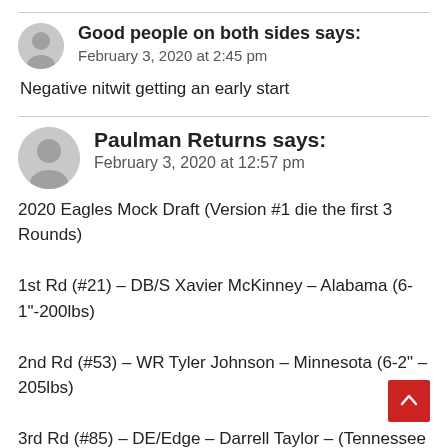Good people on both sides says:
February 3, 2020 at 2:45 pm
Negative nitwit getting an early start
Paulman Returns says:
February 3, 2020 at 12:57 pm
2020 Eagles Mock Draft (Version #1 die the first 3 Rounds)

1st Rd (#21) – DB/S Xavier McKinney – Alabama (6-1"-200lbs)
2nd Rd (#53) – WR Tyler Johnson – Minnesota (6-2" – 205lbs)
3rd Rd (#85) – DE/Edge – Darrell Taylor – (Tennessee 6-4" – 255lbs)